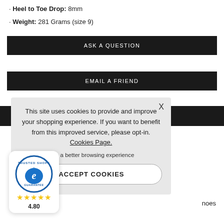· Heel to Toe Drop: 8mm
· Weight: 281 Grams (size 9)
ASK A QUESTION
EMAIL A FRIEND
This site uses cookies to provide and improve your shopping experience. If you want to benefit from this improved service, please opt-in. Cookies Page.
in to a better browsing experience
ACCEPT COOKIES
[Figure (logo): Trusted Shops e-commerce guarantee badge with 4.80 star rating]
noes